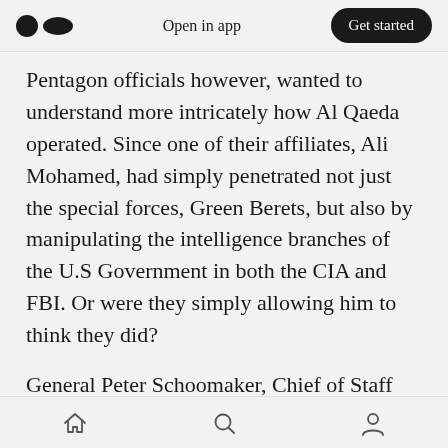Open in app | Get started
Pentagon officials however, wanted to understand more intricately how Al Qaeda operated. Since one of their affiliates, Ali Mohamed, had simply penetrated not just the special forces, Green Berets, but also by manipulating the intelligence branches of the U.S Government in both the CIA and FBI. Or were they simply allowing him to think they did?
General Peter Schoomaker, Chief of Staff for the Army, and General Hugh Shelton, Chairman Joint Chiefs of Staff together constructed a high priority, covert operation which would begin
Home | Search | Profile